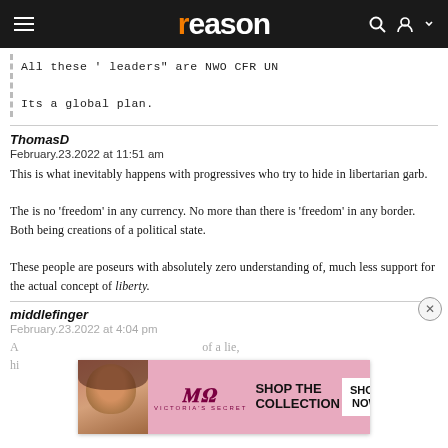reason
All these ' leaders" are NWO CFR UN

Its a global plan.
ThomasD
February.23.2022 at 11:51 am
This is what inevitably happens with progressives who try to hide in libertarian garb.

The is no 'freedom' in any currency. No more than there is 'freedom' in any border. Both being creations of a political state.

These people are poseurs with absolutely zero understanding of, much less support for the actual concept of liberty.
middlefinger
February.23.2022 at 4:04 pm
[Figure (photo): Victoria's Secret advertisement banner with model, VS logo, 'SHOP THE COLLECTION' text and 'SHOP NOW' button]